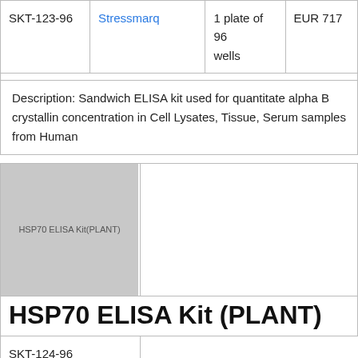| Catalog # | Supplier | Quantity | Price |
| --- | --- | --- | --- |
| SKT-123-96 | Stressmarq | 1 plate of 96 wells | EUR 717 |
Description: Sandwich ELISA kit used for quantitate alpha B crystallin concentration in Cell Lysates, Tissue, Serum samples from Human
[Figure (photo): HSP70 ELISA Kit (PLANT) product image placeholder]
HSP70 ELISA Kit (PLANT)
| Catalog # | Supplier | Quantity | Price |
| --- | --- | --- | --- |
| SKT-124-96 | Stressmarq | 1 plate of 96 wells | EUR 717 |
Description: Sandwich ELISA kit used for quantitate HSP70